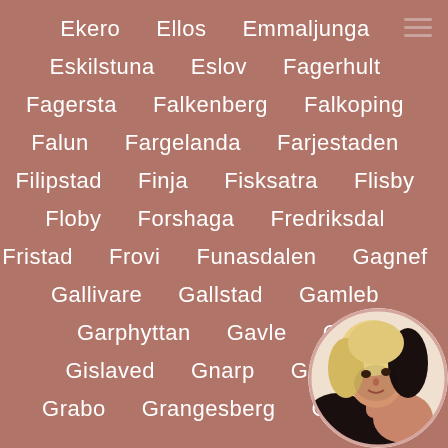Ekero   Ellos   Emmaljunga
Eskilstuna   Eslov   Fagerhult
Fagersta   Falkenberg   Falkoping
Falun   Fargelanda   Farjestaden
Filipstad   Finja   Fisksatra   Flisby
Floby   Forshaga   Fredriksdal
Fristad   Frovi   Funasdalen   Gagnef
Gallivare   Gallstad   Gamlebyn
Garphyttan   Gavle   Ge...
Gislaved   Gnarp   Gnesta
Grabo   Grangesberg   Granna
[Figure (photo): Circular avatar photo of a blonde woman in black clothing, positioned in bottom-right corner]